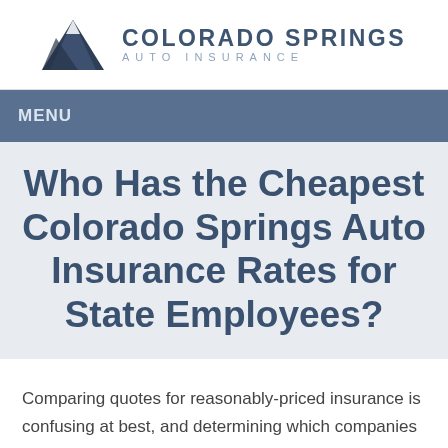COLORADO SPRINGS AUTO INSURANCE
MENU
Who Has the Cheapest Colorado Springs Auto Insurance Rates for State Employees?
Comparing quotes for reasonably-priced insurance is confusing at best, and determining which companies